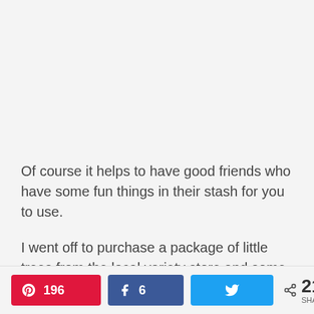Of course it helps to have good friends who have some fun things in their stash for you to use.
I went off to purchase a package of little trees from the local variety store and some Epsom salts from the drug store next door to it.
Pinterest 196 | Facebook 6 | Twitter | 210 SHARES